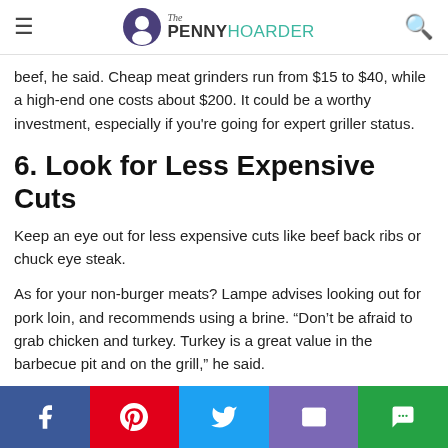The PENNY HOARDER
beef, he said. Cheap meat grinders run from $15 to $40, while a high-end one costs about $200. It could be a worthy investment, especially if you're going for expert griller status.
6. Look for Less Expensive Cuts
Keep an eye out for less expensive cuts like beef back ribs or chuck eye steak.
As for your non-burger meats? Lampe advises looking out for pork loin, and recommends using a brine. “Don’t be afraid to grab chicken and turkey. Turkey is a great value in the barbecue pit and on the grill,” he said.
7. Make Your Own Rubs and Sauces
Facebook | Pinterest | Twitter | Email | Message